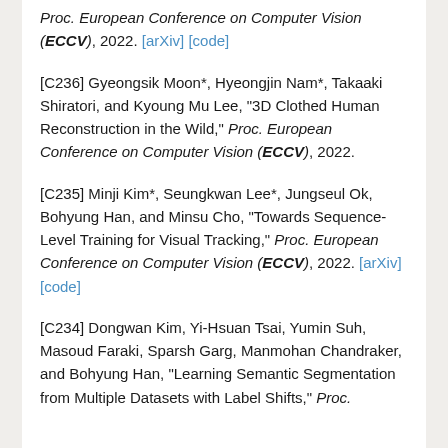Proc. European Conference on Computer Vision (ECCV), 2022. [arXiv] [code]
[C236] Gyeongsik Moon*, Hyeongjin Nam*, Takaaki Shiratori, and Kyoung Mu Lee, "3D Clothed Human Reconstruction in the Wild," Proc. European Conference on Computer Vision (ECCV), 2022.
[C235] Minji Kim*, Seungkwan Lee*, Jungseul Ok, Bohyung Han, and Minsu Cho, "Towards Sequence-Level Training for Visual Tracking," Proc. European Conference on Computer Vision (ECCV), 2022. [arXiv] [code]
[C234] Dongwan Kim, Yi-Hsuan Tsai, Yumin Suh, Masoud Faraki, Sparsh Garg, Manmohan Chandraker, and Bohyung Han, "Learning Semantic Segmentation from Multiple Datasets with Label Shifts," Proc.